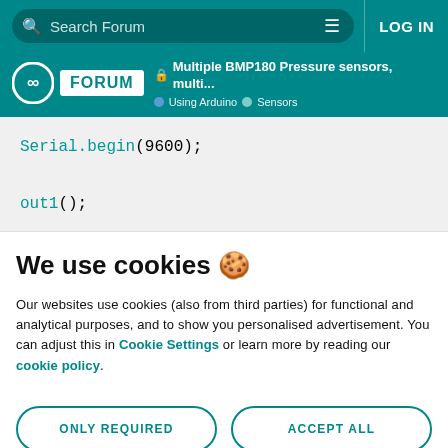Search Forum | LOG IN
🔒 Multiple BMP180 Pressure sensors, multi... | Using Arduino | Sensors
Serial.begin(9600);

out1();
We use cookies 🍪
Our websites use cookies (also from third parties) for functional and analytical purposes, and to show you personalised advertisement. You can adjust this in Cookie Settings or learn more by reading our cookie policy.
ONLY REQUIRED | ACCEPT ALL